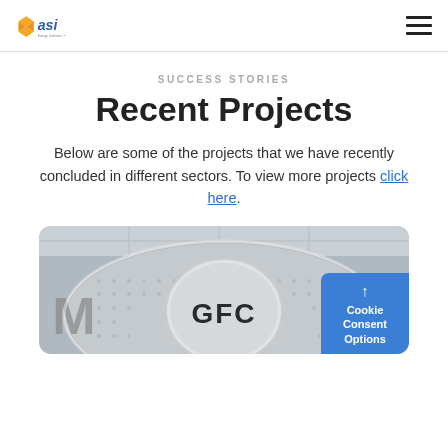ASI logo and navigation menu
SUCCESS STORIES
Recent Projects
Below are some of the projects that we have recently concluded in different sectors. To view more projects click here.
[Figure (photo): Close-up photo of a metallic industrial component showing the letters 'GFC' on a circular perforated metal surface with bright chrome/silver finish.]